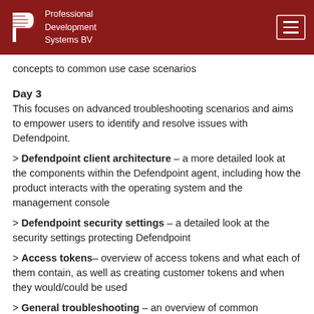Professional Development Systems BV
concepts to common use case scenarios
Day 3
This focuses on advanced troubleshooting scenarios and aims to empower users to identify and resolve issues with Defendpoint.
> Defendpoint client architecture – a more detailed look at the components within the Defendpoint agent, including how the product interacts with the operating system and the management console
> Defendpoint security settings – a detailed look at the security settings protecting Defendpoint
> Access tokens– overview of access tokens and what each of them contain, as well as creating customer tokens and when they would/could be used
> General troubleshooting – an overview of common troubleshooting techniques in the most common production